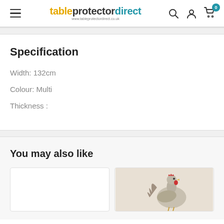[Figure (logo): tableprotectordirect logo with hamburger menu and header icons (search, account, cart with badge 0)]
Specification
Width: 132cm
Colour: Multi
Thickness :
You may also like
[Figure (photo): Product card - empty white card]
[Figure (photo): Product card - image showing a rooster/chicken illustration on light background]